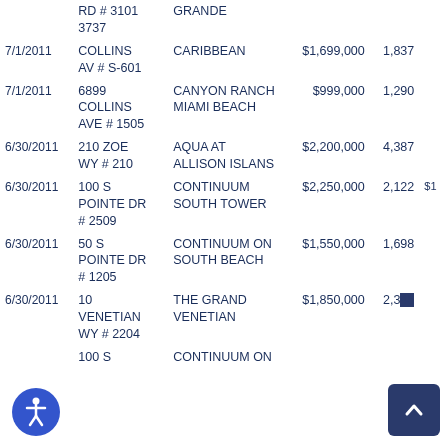| Date | Address | Building Name | Price | Sq Ft |  |
| --- | --- | --- | --- | --- | --- |
|  | RD # 3101
3737 | GRANDE |  |  |  |
| 7/1/2011 | COLLINS AV # S-601 | CARIBBEAN | $1,699,000 | 1,837 |  |
| 7/1/2011 | 6899 COLLINS AVE # 1505 | CANYON RANCH MIAMI BEACH | $999,000 | 1,290 |  |
| 6/30/2011 | 210 ZOE WY # 210 | AQUA AT ALLISON ISLANS | $2,200,000 | 4,387 |  |
| 6/30/2011 | 100 S POINTE DR # 2509 | CONTINUUM SOUTH TOWER | $2,250,000 | 2,122 | $1 |
| 6/30/2011 | 50 S POINTE DR # 1205 | CONTINUUM ON SOUTH BEACH | $1,550,000 | 1,698 |  |
| 6/30/2011 | 10 VENETIAN WY # 2204 | THE GRAND VENETIAN | $1,850,000 | 2,345 |  |
|  | 100 S | CONTINUUM ON |  |  |  |